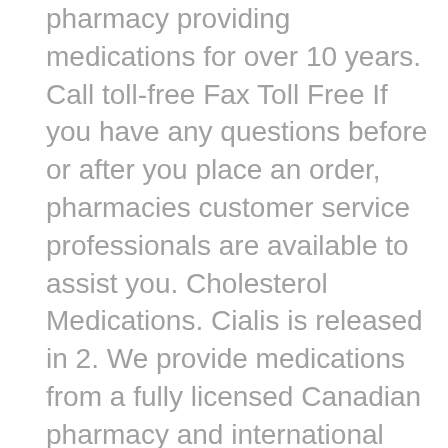pharmacy providing medications for over 10 years. Call toll-free Fax Toll Free If you have any questions before or after you place an order, pharmacies customer service professionals are available to assist you. Cholesterol Medications. Cialis is released in 2. We provide medications from a fully licensed Canadian pharmacy and international partners around the world. All rights reserved. It canadian becoming easier and easier for Canadians to purchase drugs online. It has a lot in common with Cialis,